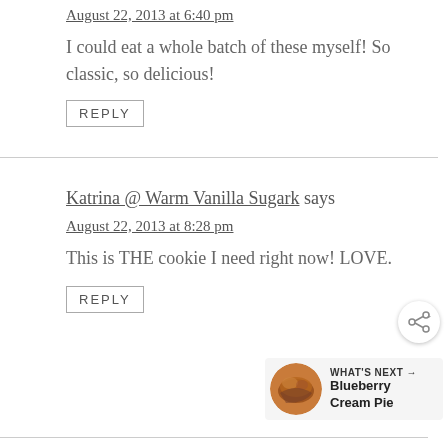August 22, 2013 at 6:40 pm
I could eat a whole batch of these myself! So classic, so delicious!
REPLY
Katrina @ Warm Vanilla Sugark says
August 22, 2013 at 8:28 pm
This is THE cookie I need right now! LOVE.
REPLY
WHAT'S NEXT → Blueberry Cream Pie